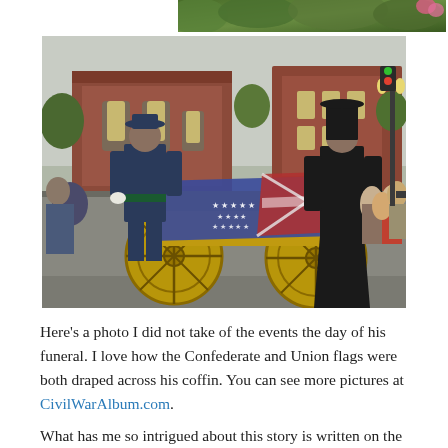[Figure (photo): Partial top edge of a photo showing green foliage and a pink/red floral element at top right]
[Figure (photo): A funeral procession scene on a street with a cannon caisson draped with Confederate and Union flags, flanked by Civil War reenactors in period dress, with a brick church and crowd of onlookers in the background]
Here’s a photo I did not take of the events the day of his funeral. I love how the Confederate and Union flags were both draped across his coffin. You can see more pictures at CivilWarAlbum.com.
What has me so intrigued about this story is written on the